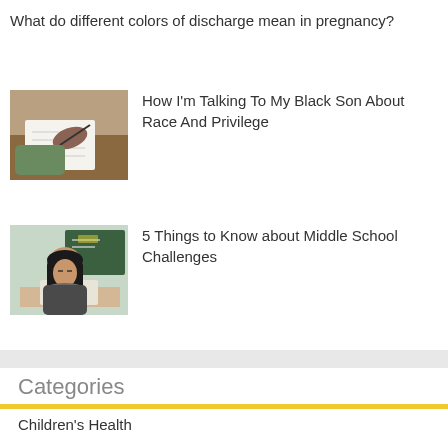What do different colors of discharge mean in pregnancy?
[Figure (photo): Hands writing in a notebook at a desk]
How I'm Talking To My Black Son About Race And Privilege
[Figure (photo): Young girl resting head on hands at a school desk with a chalkboard in the background]
5 Things to Know about Middle School Challenges
Categories
Children's Health
Home